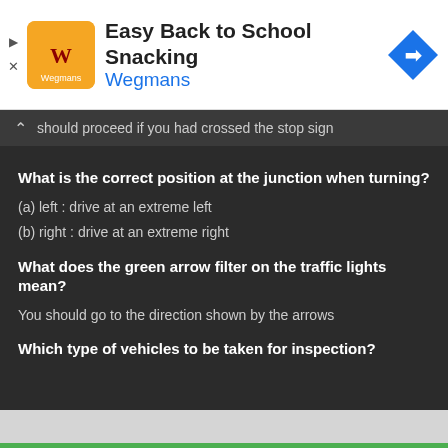[Figure (screenshot): Ad banner for Wegmans Easy Back to School Snacking with orange logo and blue diamond arrow icon]
should proceed if you had crossed the stop sign
What is the correct position at the junction when turning?
(a) left : drive at an extreme left
(b) right : drive at an extreme right
What does the green arrow filter on the traffic lights mean?
You should go to the direction shown by the arrows
Which type of vehicles to be taken for inspection?